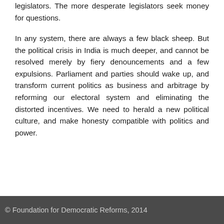legislators. The more desperate legislators seek money for questions.
In any system, there are always a few black sheep. But the political crisis in India is much deeper, and cannot be resolved merely by fiery denouncements and a few expulsions. Parliament and parties should wake up, and transform current politics as business and arbitrage by reforming our electoral system and eliminating the distorted incentives. We need to herald a new political culture, and make honesty compatible with politics and power.
© Foundation for Democratic Reforms, 2014